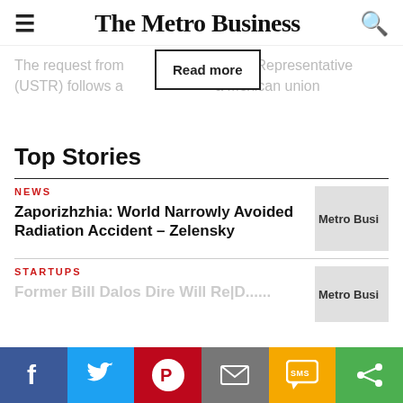The Metro Business
The request from [Read more] de Representative (USTR) follows a [Read more] a Mexican union
Top Stories
NEWS
Zaporizhzhia: World Narrowly Avoided Radiation Accident – Zelensky
STARTUPS